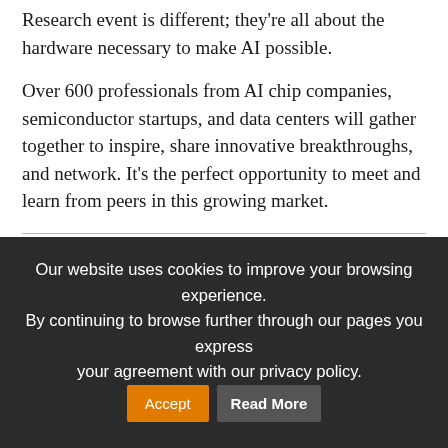Research event is different; they're all about the hardware necessary to make AI possible.
Over 600 professionals from AI chip companies, semiconductor startups, and data centers will gather together to inspire, share innovative breakthroughs, and network. It's the perfect opportunity to meet and learn from peers in this growing market.
IOT Summit NSW 2019 | Dates: September 19, 2019 | Location: Sydney, Australia
Our website uses cookies to improve your browsing experience. By continuing to browse further through our pages you express your agreement with our privacy policy. Accept  Read More